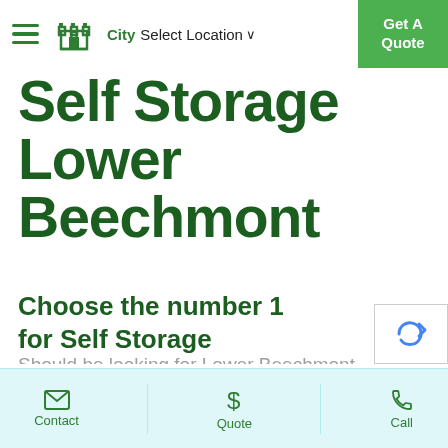City Select Location ▾   Get A Quote
Self Storage Lower Beechmont
Choose the number 1 for Self Storage
Should be looking for Lower Beechmont storage or have a need for storage sheds near Lower
Contact   Quote   Call